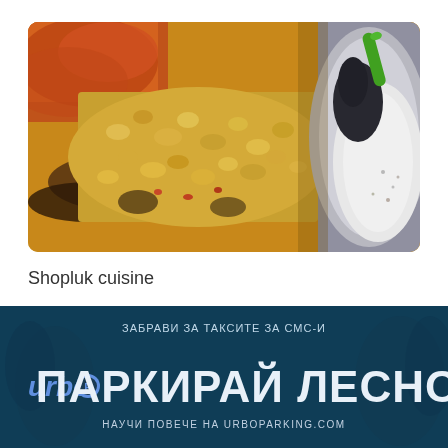[Figure (photo): Close-up photo of Shopluk cuisine — a casserole-style dish with golden-brown crumbled top (eggs, cheese mixture), dark vegetables visible beneath, and a side dish with white creamy sauce and green garnish on the right.]
Shopluk cuisine
[Figure (infographic): Urbo Parking advertisement banner with dark blue teal background. Text in Bulgarian: 'ЗАБРАВИ ЗА ТАКСИТЕ ЗА СМС-И' (top, small), 'urbo ПАРКИРАЙ ЛЕСНО' (large, center), 'НАУЧИ ПОВЕЧЕ НА URBOPARKING.COM' (bottom, small). Urbo logo on left side.]